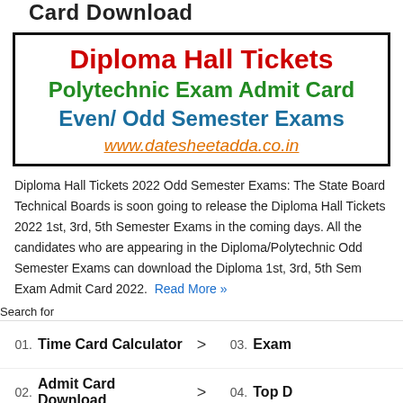Card Download
[Figure (infographic): Banner box with bold text lines: 'Diploma Hall Tickets' in red, 'Polytechnic Exam Admit Card' in green, 'Even/ Odd Semester Exams' in blue, 'www.datesheetadda.co.in' in orange italic underline. Black border around banner.]
Diploma Hall Tickets 2022 Odd Semester Exams: The State Board Technical Boards is soon going to release the Diploma Hall Tickets 2022 1st, 3rd, 5th Semester Exams in the coming days. All the candidates who are appearing in the Diploma/Polytechnic Odd Semester Exams can download the Diploma 1st, 3rd, 5th Sem Exam Admit Card 2022. Read More »
Search for
01. Time Card Calculator
02. Admit Card Download
03. Exam
04. Top D
Yahoo! Search | Sponsored